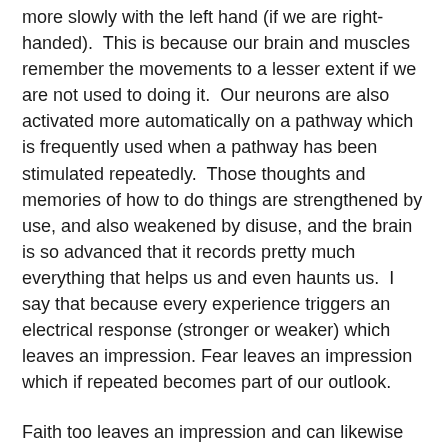more slowly with the left hand (if we are right-handed). This is because our brain and muscles remember the movements to a lesser extent if we are not used to doing it. Our neurons are also activated more automatically on a pathway which is frequently used when a pathway has been stimulated repeatedly. Those thoughts and memories of how to do things are strengthened by use, and also weakened by disuse, and the brain is so advanced that it records pretty much everything that helps us and even haunts us. I say that because every experience triggers an electrical response (stronger or weaker) which leaves an impression. Fear leaves an impression which if repeated becomes part of our outlook.
Faith too leaves an impression and can likewise be part of our natures. Someone said if you think you cannot do something and if you think you can, in both instances you are right. You shape your own reality especially if the behavior (albeit thought behavior) is repeated often enough.